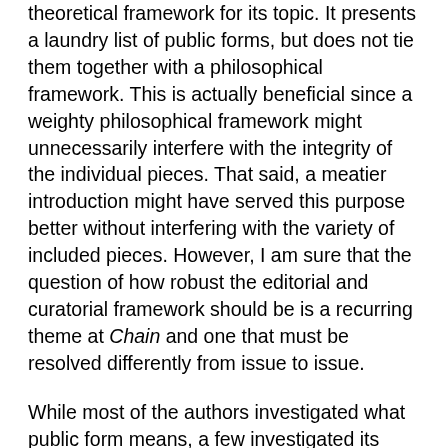theoretical framework for its topic. It presents a laundry list of public forms, but does not tie them together with a philosophical framework. This is actually beneficial since a weighty philosophical framework might unnecessarily interfere with the integrity of the individual pieces. That said, a meatier introduction might have served this purpose better without interfering with the variety of included pieces. However, I am sure that the question of how robust the editorial and curatorial framework should be is a recurring theme at Chain and one that must be resolved differently from issue to issue.
While most of the authors investigated what public form means, a few investigated its oppositional concept: private form. One such piece is Jane Dalrymple-Hollo and Eleni Sikelianos's "[I had a private thought I thought]," a collection of six captioned line drawings investigating the concepts of public art, war, and ownership.
Elke Lehmann describes her piece “Portraits” as follows: “Simulated surveillance cameras were installed throughout the World Financial Center in lower Manhattan in 2002. Non